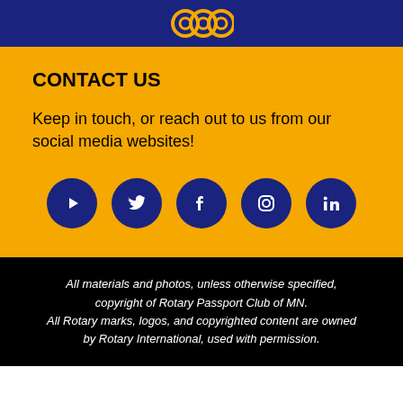[Figure (logo): Rotary club logo / gear icon in orange on dark navy blue header bar]
CONTACT US
Keep in touch, or reach out to us from our social media websites!
[Figure (infographic): Five dark navy blue circular social media icons in a row: YouTube, Twitter, Facebook, Instagram, LinkedIn]
All materials and photos, unless otherwise specified, copyright of Rotary Passport Club of MN. All Rotary marks, logos, and copyrighted content are owned by Rotary International, used with permission.